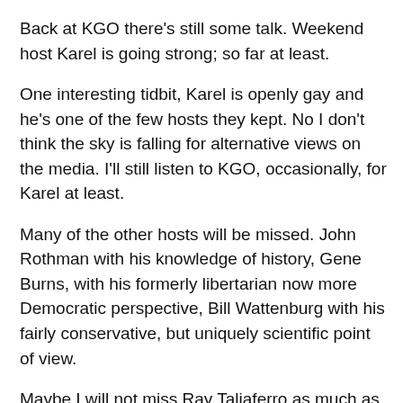Back at KGO there's still some talk. Weekend host Karel is going strong; so far at least.
One interesting tidbit, Karel is openly gay and he's one of the few hosts they kept. No I don't think the sky is falling for alternative views on the media. I'll still listen to KGO, occasionally, for Karel at least.
Many of the other hosts will be missed. John Rothman with his knowledge of history, Gene Burns, with his formerly libertarian now more Democratic perspective, Bill Wattenburg with his fairly conservative, but uniquely scientific point of view.
Maybe I will not miss Ray Taliaferro as much as he tended to be more of a yeller, but occasionally I'd listen and often agreed with what he said. His liberal perspective was on KGO since the 1970s.